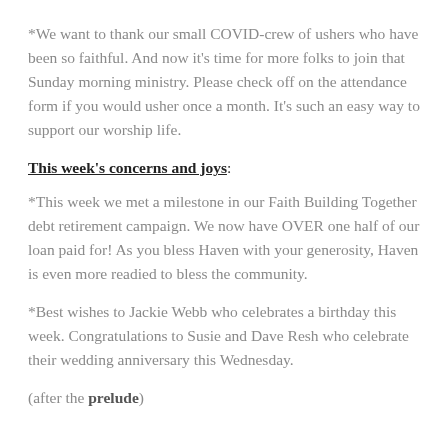*We want to thank our small COVID-crew of ushers who have been so faithful. And now it's time for more folks to join that Sunday morning ministry. Please check off on the attendance form if you would usher once a month. It's such an easy way to support our worship life.
This week's concerns and joys:
*This week we met a milestone in our Faith Building Together debt retirement campaign. We now have OVER one half of our loan paid for! As you bless Haven with your generosity, Haven is even more readied to bless the community.
*Best wishes to Jackie Webb who celebrates a birthday this week. Congratulations to Susie and Dave Resh who celebrate their wedding anniversary this Wednesday.
(after the prelude)